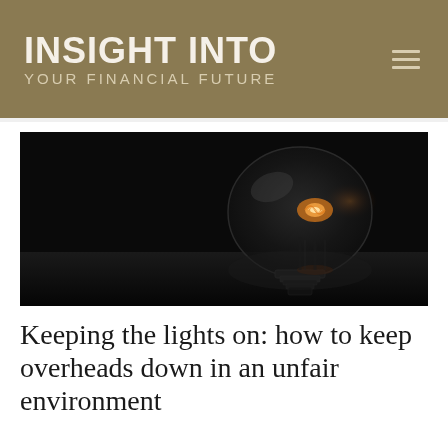INSIGHT INTO YOUR FINANCIAL FUTURE
[Figure (photo): A glass light bulb lying on its side on a reflective surface against a dark black background, with the glowing filament visible inside]
Keeping the lights on: how to keep overheads down in an unfair environment